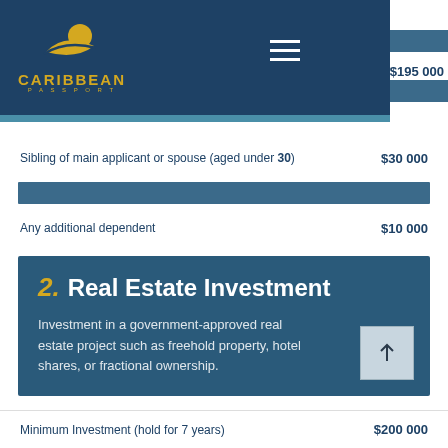[Figure (logo): Caribbean Passport logo with sun and leaf graphic, gold text on dark blue background]
Sibling of main applicant or spouse (aged under 30)
$30 000
Any additional dependent
$10 000
2. Real Estate Investment
Investment in a government-approved real estate project such as freehold property, hotel shares, or fractional ownership.
Minimum Investment (hold for 7 years)
$200 000